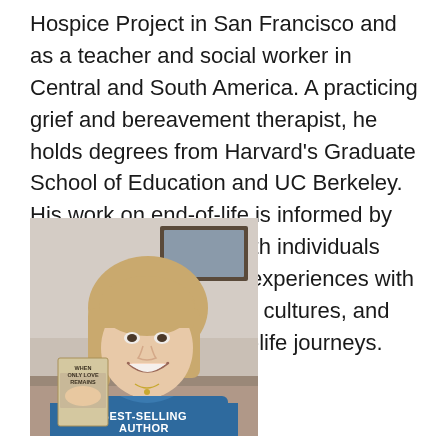Hospice Project in San Francisco and as a teacher and social worker in Central and South America. A practicing grief and bereavement therapist, he holds degrees from Harvard's Graduate School of Education and UC Berkeley. His work on end-of-life is informed by his therapeutic work with individuals and families, personal experiences with death and dying across cultures, and his family's own end-of-life journeys.
[Figure (photo): A smiling blonde woman wearing a teal/blue t-shirt that reads 'BEST-SELLING AUTHOR' holding a book titled 'When Only Love Remains'. A framed picture is visible on the wall behind her.]